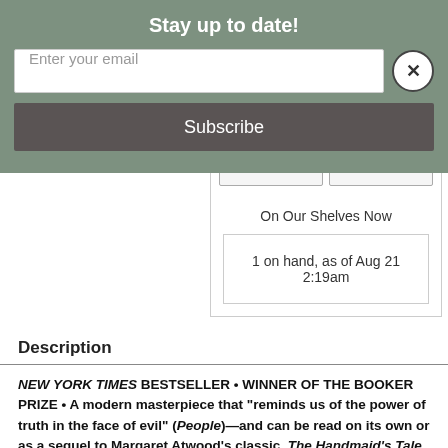Stay up to date!
Enter your email
Subscribe
On Our Shelves Now
1 on hand, as of Aug 21 2:19am
Description
NEW YORK TIMES BESTSELLER • WINNER OF THE BOOKER PRIZE • A modern masterpiece that "reminds us of the power of truth in the face of evil" (People)—and can be read on its own or as a sequel to Margaret Atwood's classic, The Handmaid's Tale.
"Atwood's powers are on full display" (Los Angeles Times) in this